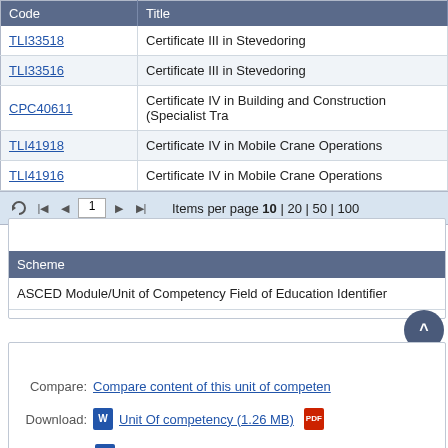| Code | Title |
| --- | --- |
| TLI33518 | Certificate III in Stevedoring |
| TLI33516 | Certificate III in Stevedoring |
| CPC40611 | Certificate IV in Building and Construction (Specialist Tra... |
| TLI41918 | Certificate IV in Mobile Crane Operations |
| TLI41916 | Certificate IV in Mobile Crane Operations |
Items per page 10 | 20 | 50 | 100
Classifications
| Scheme |
| --- |
| ASCED Module/Unit of Competency Field of Education Identifier |
Content
Compare: Compare content of this unit of competency...
Download: Unit Of competency (1.26 MB)
Assessment requirements (1.26 MB)